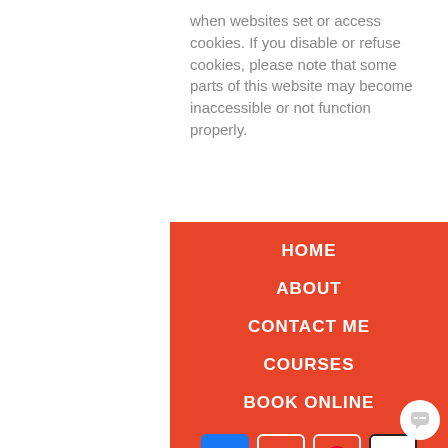when websites set or access cookies. If you disable or refuse cookies, please note that some parts of this website may become inaccessible or not function properly.
HOME
ABOUT
CONTACT ME
COURSES
BOOK ONLINE
[Figure (infographic): Social media icons: Facebook, YouTube, Pinterest, Instagram]
Privacy Notice
Terms & Conditions